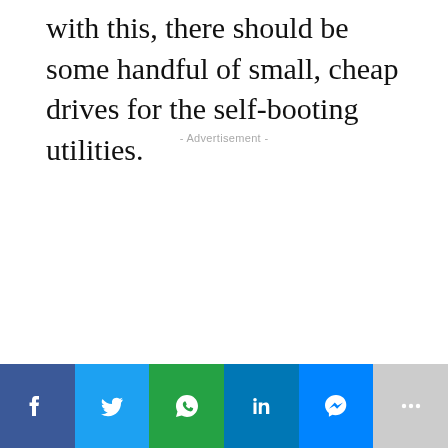with this, there should be some handful of small, cheap drives for the self-booting utilities.
- Advertisement -
[Figure (other): Social media sharing bar with buttons for Facebook, Twitter, WhatsApp, LinkedIn, Messenger, and More (+)]